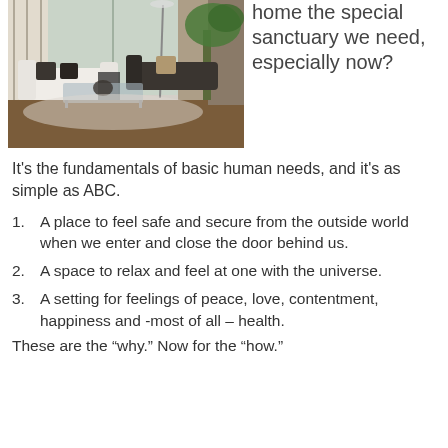[Figure (photo): Interior photo of a modern living room with white sofas, dark throw pillows, a glass coffee table, floor lamp, and large indoor plants near floor-to-ceiling windows with sheer curtains.]
home the special sanctuary we need, especially now?
It’s the fundamentals of basic human needs, and it’s as simple as ABC.
A place to feel safe and secure from the outside world when we enter and close the door behind us.
A space to relax and feel at one with the universe.
A setting for feelings of peace, love, contentment, happiness and -most of all – health.
These are the “why.” Now for the “how.”